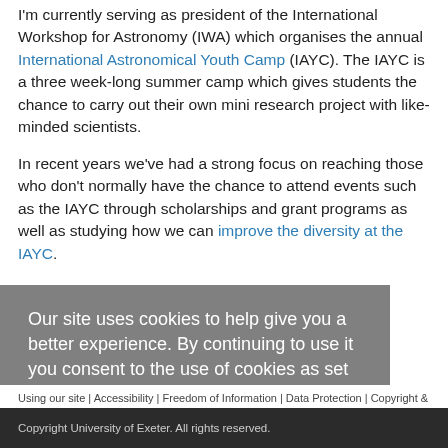I'm currently serving as president of the International Workshop for Astronomy (IWA) which organises the annual International Astronomical Youth Camp (IAYC). The IAYC is a three week-long summer camp which gives students the chance to carry out their own mini research project with like-minded scientists.
In recent years we've had a strong focus on reaching those who don't normally have the chance to attend events such as the IAYC through scholarships and grant programs as well as studying how we can improve the diversity at the IAYC.
Our site uses cookies to help give you a better experience. By continuing to use it you consent to the use of cookies as set out in our privacy policy
Using our site | Accessibility | Freedom of Information | Data Protection | Copyright & disclaimer | Privacy & cookies
Copyright University of Exeter. All rights reserved.